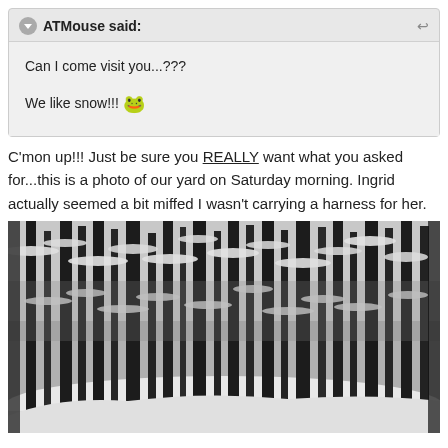ATMouse said:
Can I come visit you...???
We like snow!!! 🐸
C'mon up!!! Just be sure you REALLY want what you asked for...this is a photo of our yard on Saturday morning. Ingrid actually seemed a bit miffed I wasn't carrying a harness for her.
[Figure (photo): Black and white photo of a snow-covered forest with tall dark tree trunks and snow-laden branches, taken in a backyard on a winter Saturday morning.]